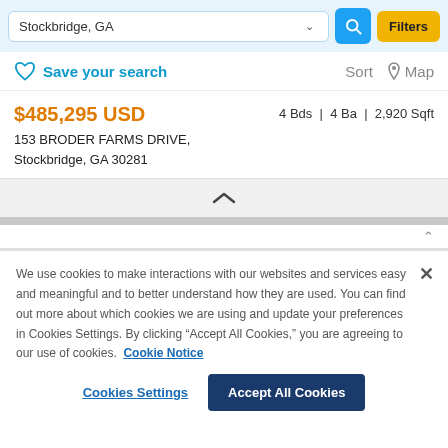Stockbridge, GA
Save your search   Sort   Map
$485,295 USD   4 Bds | 4 Ba | 2,920 Sqft
153 BRODER FARMS DRIVE,
Stockbridge, GA 30281
We use cookies to make interactions with our websites and services easy and meaningful and to better understand how they are used. You can find out more about which cookies we are using and update your preferences in Cookies Settings. By clicking "Accept All Cookies," you are agreeing to our use of cookies. Cookie Notice
Cookies Settings   Accept All Cookies